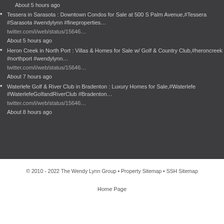About 5 hours ago
Tessera in Sarasota : Downtown Condos for Sale at 500 S Palm Avenue,#Tessera #Sarasota #wendylynn #fineproperties… twitter.com/i/web/status/15646…
About 5 hours ago
Heron Creek in North Port : Villas & Homes for Sale w/ Golf & Country Club,#heroncreek #northport #wendylynn… twitter.com/i/web/status/15646…
About 7 hours ago
Waterlefe Golf & River Club in Bradenton : Luxury Homes for Sale,#Waterlefe #WaterlefeGolfandRiverClub #Bradenton… twitter.com/i/web/status/15646…
About 8 hours ago
© 2010 - 2022 The Wendy Lynn Group • Property Sitemap • SSH Sitemap
Home Page